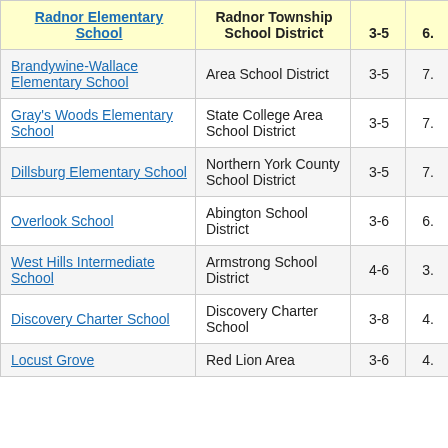| Radnor Elementary School | Radnor Township School District | 3-5 | 6. |
| --- | --- | --- | --- |
| Brandywine-Wallace Elementary School | Area School District | 3-5 | 7. |
| Gray's Woods Elementary School | State College Area School District | 3-5 | 7. |
| Dillsburg Elementary School | Northern York County School District | 3-5 | 7. |
| Overlook School | Abington School District | 3-6 | 6. |
| West Hills Intermediate School | Armstrong School District | 4-6 | 3. |
| Discovery Charter School | Discovery Charter School | 3-8 | 4. |
| Locust Grove | Red Lion Area | 3-6 | 4. |